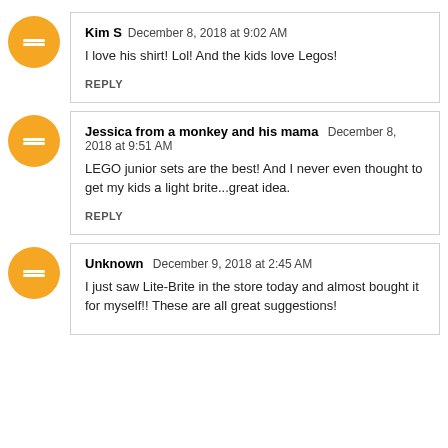Kim S  December 8, 2018 at 9:02 AM
I love his shirt! Lol! And the kids love Legos!
REPLY
Jessica from a monkey and his mama  December 8, 2018 at 9:51 AM
LEGO junior sets are the best! And I never even thought to get my kids a light brite...great idea.
REPLY
Unknown  December 9, 2018 at 2:45 AM
I just saw Lite-Brite in the store today and almost bought it for myself!! These are all great suggestions!